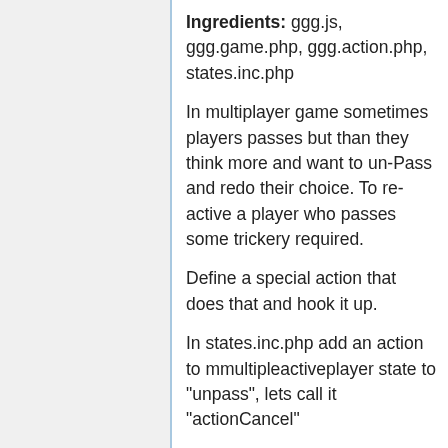Ingredients: ggg.js, ggg.game.php, ggg.action.php, states.inc.php
In multiplayer game sometimes players passes but than they think more and want to un-Pass and redo their choice. To re-active a player who passes some trickery required.
Define a special action that does that and hook it up.
In states.inc.php add an action to mmultipleactiveplayer state to "unpass", lets call it "actionCancel"
In ggg.action.php add action hook
public function
 actionCancel() {

 self::setAjaxMode();
         $this->game-